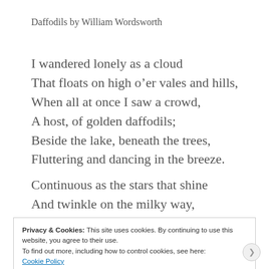Daffodils by William Wordsworth
I wandered lonely as a cloud
That floats on high o’er vales and hills,
When all at once I saw a crowd,
A host, of golden daffodils;
Beside the lake, beneath the trees,
Fluttering and dancing in the breeze.
Continuous as the stars that shine
And twinkle on the milky way,
Privacy & Cookies: This site uses cookies. By continuing to use this website, you agree to their use.
To find out more, including how to control cookies, see here:
Cookie Policy
Close and accept